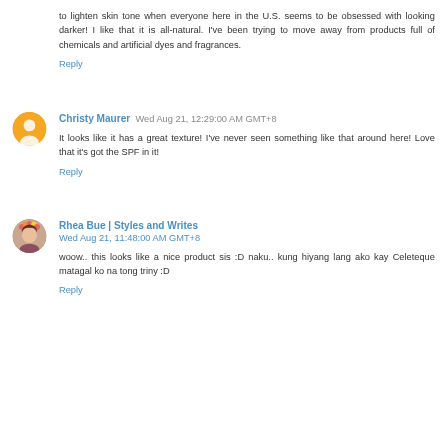to lighten skin tone when everyone here in the U.S. seems to be obsessed with looking darker! I like that it is all-natural. I've been trying to move away from products full of chemicals and artificial dyes and fragrances.
Reply
Christy Maurer Wed Aug 21, 12:29:00 AM GMT+8
It looks like it has a great texture! I've never seen something like that around here! Love that it's got the SPF in it!
Reply
Rhea Bue | Styles and Writes Wed Aug 21, 11:48:00 AM GMT+8
woow.. this looks like a nice product sis :D naku.. kung hiyang lang ako kay Celeteque matagal ko na tong triny :D
Reply